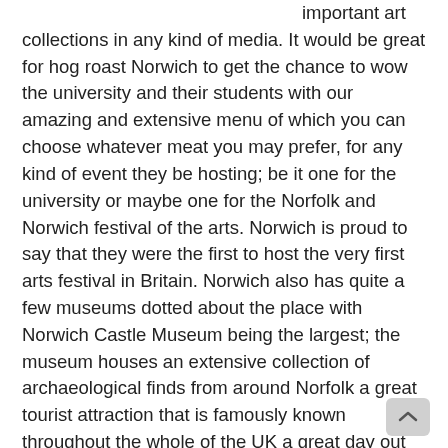important art collections in any kind of media. It would be great for hog roast Norwich to get the chance to wow the university and their students with our amazing and extensive menu of which you can choose whatever meat you may prefer, for any kind of event they be hosting; be it one for the university or maybe one for the Norfolk and Norwich festival of the arts. Norwich is proud to say that they were the first to host the very first arts festival in Britain. Norwich also has quite a few museums dotted about the place with Norwich Castle Museum being the largest; the museum houses an extensive collection of archaeological finds from around Norfolk a great tourist attraction that is famously known throughout the whole of the UK a great day out indeed.

The Cock Inn in Norwich was the venue of an even we catered at recently with us roasting a hog big enough to fill